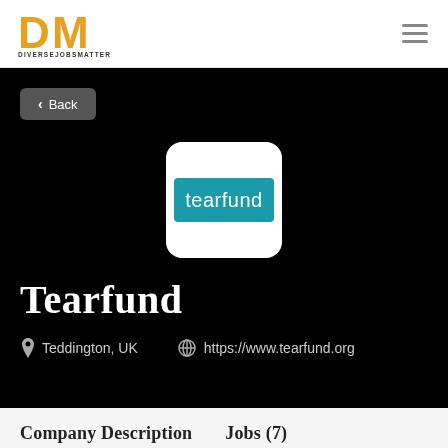DM DIVERSEJOBSMATTER
[Figure (logo): Tearfund logo: white rounded square containing a teal rectangle with white text 'tearfund']
Tearfund
Teddington, UK
https://www.tearfund.org
Company Description  Jobs (7)